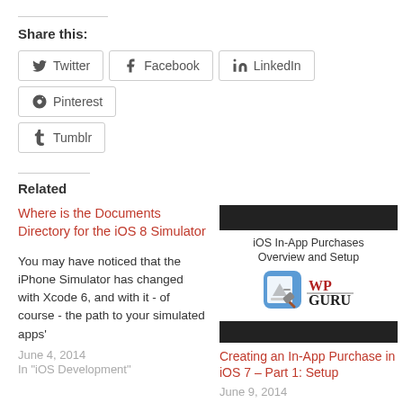Share this:
Twitter
Facebook
LinkedIn
Pinterest
Tumblr
Related
Where is the Documents Directory for the iOS 8 Simulator
You may have noticed that the iPhone Simulator has changed with Xcode 6, and with it - of course - the path to your simulated apps'
June 4, 2014
In "iOS Development"
[Figure (screenshot): Article thumbnail showing iOS In-App Purchases Overview and Setup with Xcode and WPGuru logos]
Creating an In-App Purchase in iOS 7 – Part 1: Setup
June 9, 2014